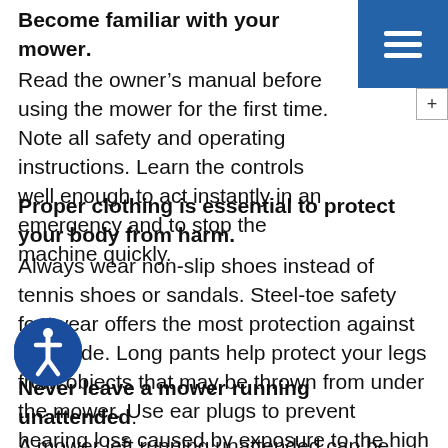[Figure (other): Blue navigation bar with hamburger menu icon (three white horizontal lines) in the top right corner, and a plus button below it]
Become familiar with your mower.
Read the owner’s manual before using the mower for the first time. Note all safety and operating instructions. Learn the controls well enough to act instantly in an emergency and to stop the machine quickly.
Proper clothing is essential to protect your body from harm.
Always wear non-slip shoes instead of tennis shoes or sandals. Steel-toe safety footwear offers the most protection against the blade. Long pants help protect your legs from objects that may be thrown from under the mower. Use ear plugs to prevent hearing loss caused by exposure to the high noise levels.
[Figure (logo): Blue circle accessibility icon with white person figure inside]
Never leave a mower running unattended.
A mower left running unattended can be fascinating to a child. If the mower has an electric start, the key